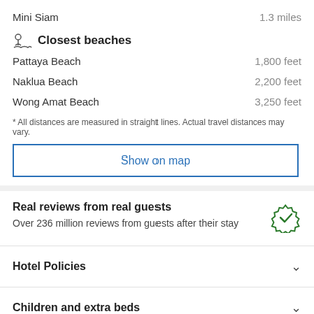Mini Siam    1.3 miles
Closest beaches
Pattaya Beach    1,800 feet
Naklua Beach    2,200 feet
Wong Amat Beach    3,250 feet
* All distances are measured in straight lines. Actual travel distances may vary.
Show on map
Real reviews from real guests
Over 236 million reviews from guests after their stay
Hotel Policies
Children and extra beds